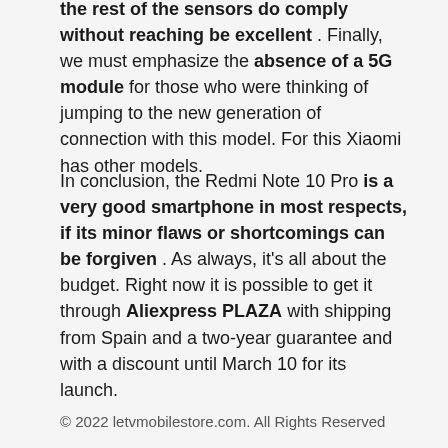the rest of the sensors do comply without reaching be excellent. Finally, we must emphasize the absence of a 5G module for those who were thinking of jumping to the new generation of connection with this model. For this Xiaomi has other models.
In conclusion, the Redmi Note 10 Pro is a very good smartphone in most respects, if its minor flaws or shortcomings can be forgiven. As always, it's all about the budget. Right now it is possible to get it through Aliexpress PLAZA with shipping from Spain and a two-year guarantee and with a discount until March 10 for its launch.
© 2022 letvmobilestore.com. All Rights Reserved